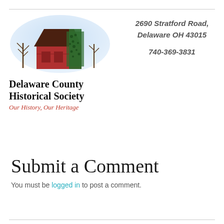[Figure (illustration): Illustration of a red and green barn with trees, serving as the logo image for Delaware County Historical Society]
Delaware County Historical Society
Our History, Our Heritage
2690 Stratford Road, Delaware OH 43015
740-369-3831
Submit a Comment
You must be logged in to post a comment.